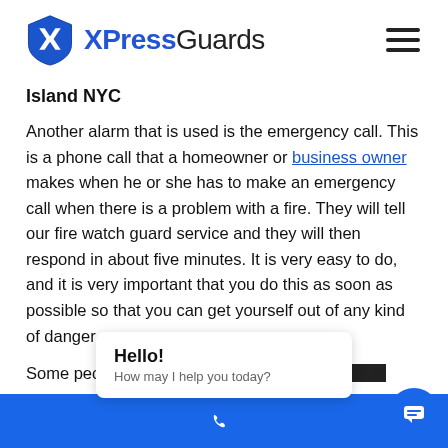[Figure (logo): XPressGuards logo with blue shield icon and company name]
Island NYC
Another alarm that is used is the emergency call. This is a phone call that a homeowner or business owner makes when he or she has to make an emergency call when there is a problem with a fire. They will tell our fire watch guard service and they will then respond in about five minutes. It is very easy to do, and it is very important that you do this as soon as possible so that you can get yourself out of any kind of danger.
Some people try to ignore the fire or try to deal wi...